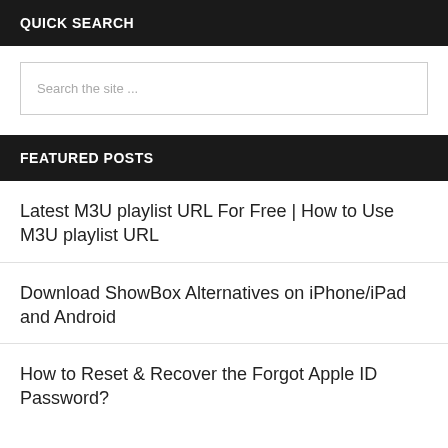QUICK SEARCH
Search the site ...
FEATURED POSTS
Latest M3U playlist URL For Free | How to Use M3U playlist URL
Download ShowBox Alternatives on iPhone/iPad and Android
How to Reset & Recover the Forgot Apple ID Password?